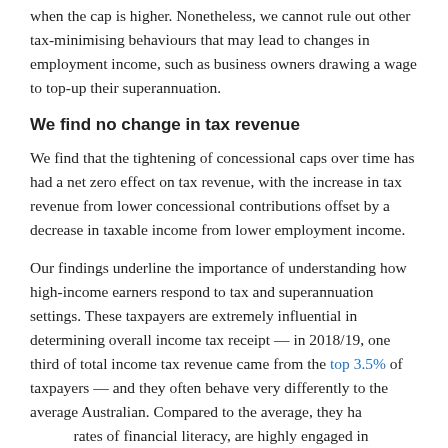when the cap is higher. Nonetheless, we cannot rule out other tax-minimising behaviours that may lead to changes in employment income, such as business owners drawing a wage to top-up their superannuation.
We find no change in tax revenue
We find that the tightening of concessional caps over time has had a net zero effect on tax revenue, with the increase in tax revenue from lower concessional contributions offset by a decrease in taxable income from lower employment income.
Our findings underline the importance of understanding how high-income earners respond to tax and superannuation settings. These taxpayers are extremely influential in determining overall income tax receipt — in 2018/19, one third of total income tax revenue came from the top 3.5% of taxpayers — and they often behave very differently to the average Australian. Compared to the average, they have higher rates of financial literacy, are highly engaged in financial decisions and are well-resourced to respond in sophisticated